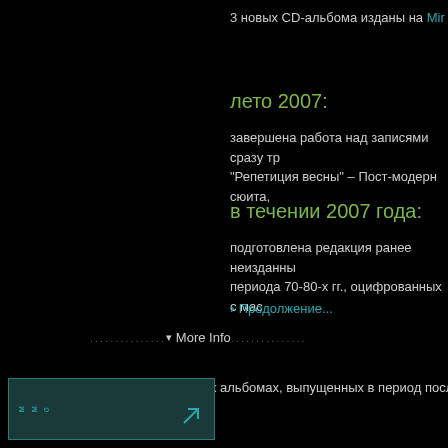3 новых CD-альбома изданы на Mir Reco
лето 2007:
завершена работа над записями сразу тр «Репетиция весны» – Пост-модерн сюита,
в течении 2007 года:
подготовлена редакция ранее неизданны периода 70-80-х гг., оцифрованных с мас
› Продолжение...
▾ More Info
Информацию о других альбомах, выпущенных в период после 2000, вы
[Figure (screenshot): Thumbnail box with teal border and arrow icon, showing rotated text labels]